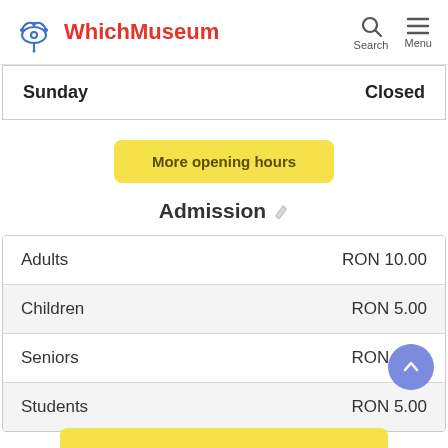WhichMuseum
| Day | Status |
| --- | --- |
| Sunday | Closed |
More opening hours
Admission
| Category | Price |
| --- | --- |
| Adults | RON 10.00 |
| Children | RON 5.00 |
| Seniors | RON 5.00 |
| Students | RON 5.00 |